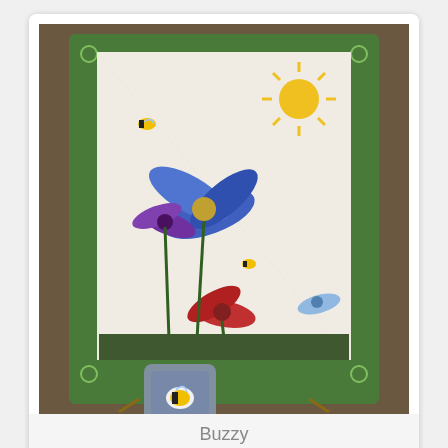[Figure (photo): Cross stitch product photo showing a framed needlework piece with colorful flowers (blue, red, purple), a bee, and a yellow sun on a green frame, displayed on an easel. In front is a small square pincushion with a bee cross stitch design.]
Buzzy
$5.75
[Figure (photo): Cross stitch product photo showing a framed needlework piece with three cupcakes and a candle, enclosed in a decorative frame with a bead or pebble border, displayed on a gray surface.]